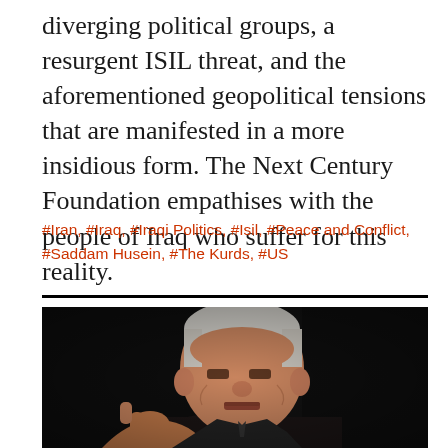diverging political groups, a resurgent ISIL threat, and the aforementioned geopolitical tensions that are manifested in a more insidious form. The Next Century Foundation empathises with the people of Iraq who suffer for this reality.
#Iran, #Iraq, #Iraqi Politics, #Isil, #Peace and Conflict, #Saddam Husein, #The Kurds, #US
[Figure (photo): A man with grey hair gesturing with his right hand (pointing with index finger), wearing a dark suit, photographed against a dark background. Close-up portrait shot.]